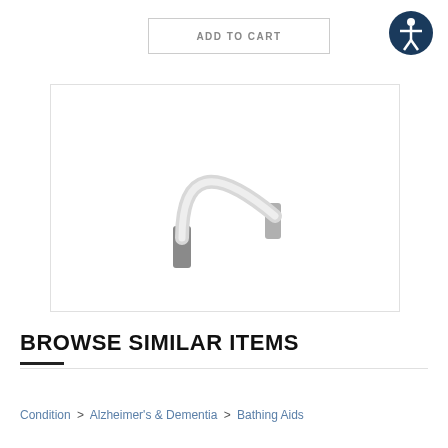ADD TO CART
[Figure (illustration): Accessibility icon: dark blue circle with white human figure with arms outstretched]
[Figure (photo): A curved flexible tube or strap with gray/dark ends, shaped like an arch or U-shape, on a white background]
BROWSE SIMILAR ITEMS
Condition > Alzheimer's & Dementia > Bathing Aids